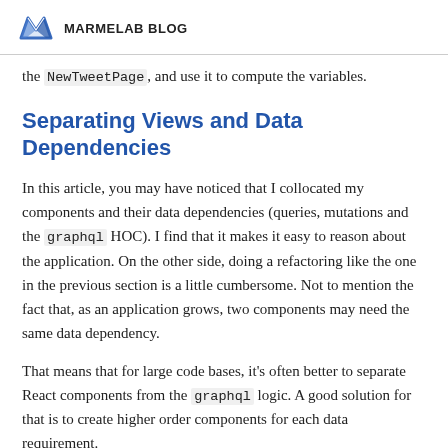MARMELAB BLOG
the NewTweetPage, and use it to compute the variables.
Separating Views and Data Dependencies
In this article, you may have noticed that I collocated my components and their data dependencies (queries, mutations and the graphql HOC). I find that it makes it easy to reason about the application. On the other side, doing a refactoring like the one in the previous section is a little cumbersome. Not to mention the fact that, as an application grows, two components may need the same data dependency.
That means that for large code bases, it's often better to separate React components from the graphql logic. A good solution for that is to create higher order components for each data requirement.
For example, the logic for requesting the list of tweets could be moved to a withTweets HOC, as follows: